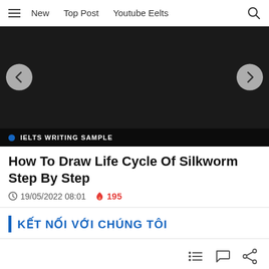New   Top Post   Youtube Eelts
[Figure (screenshot): Dark carousel/hero banner with left and right navigation arrows, and an IELTS WRITING SAMPLE label at the bottom]
How To Draw Life Cycle Of Silkworm Step By Step
19/05/2022 08:01   195
KẾT NỐI VỚI CHÚNG TÔI
Icons: list, comment, share